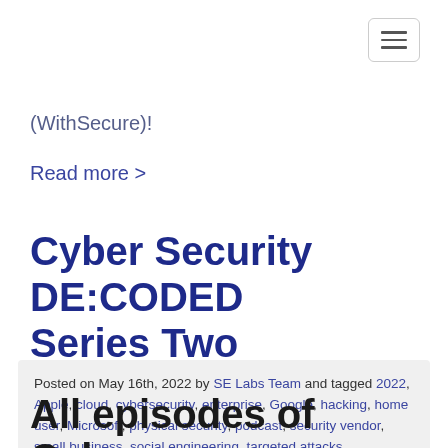[Figure (other): Hamburger menu navigation button icon]
(WithSecure)!
Read more >
Cyber Security DE:CODED Series Two
Posted on May 16th, 2022 by SE Labs Team and tagged 2022, Apple, cloud, cybersecurity, enterprise, Google, hacking, home user, Microsoft, physical security, podcast, security vendor, small business, social engineering, targeted attacks
All episodes of Cyber